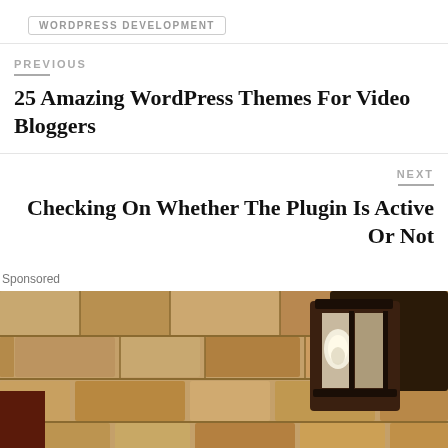WORDPRESS DEVELOPMENT
PREVIOUS
25 Amazing WordPress Themes For Video Bloggers
NEXT
Checking On Whether The Plugin Is Active Or Not
Sponsored
[Figure (photo): Close-up photo of a vintage outdoor wall lantern mounted on a textured stone wall, with a glowing bulb inside and dark metal frame]